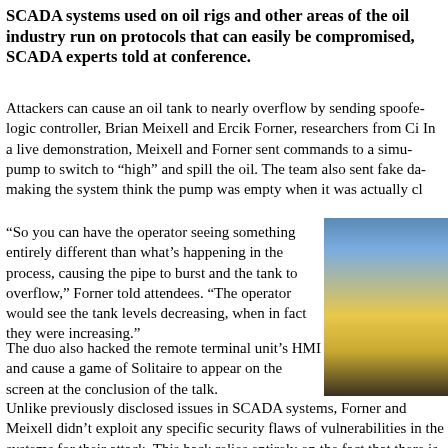SCADA systems used on oil rigs and other areas of the oil industry run on protocols that can easily be compromised, SCADA experts told at conference.
Attackers can cause an oil tank to nearly overflow by sending spoofed commands to a programmable logic controller, Brian Meixell and Ercik Forner, researchers from Cimation told at the conference. In a live demonstration, Meixell and Forner sent commands to a simulated oil pump to switch to “high” and spill the oil. The team also sent fake data back to the HMI, making the system think the pump was empty when it was actually cl
"So you can have the operator seeing something entirely different than what's happening in the process, causing the pipe to burst and the tank to overflow," Forner told attendees. "The operator would see the tank levels decreasing, when in fact they were increasing."
[Figure (photo): Photo of a person wearing a hard hat, outdoors, with yellow and blue background suggesting sky and industrial setting.]
The duo also hacked the remote terminal unit's HMI and cause a game of Solitaire to appear on the screen at the conclusion of the talk.
Unlike previously disclosed issues in SCADA systems, Forner and Meixell didn't exploit any specific security flaws of vulnerabilities in the systems for their attack. This hack relies entirely on the fact that there is no security built in to the serial